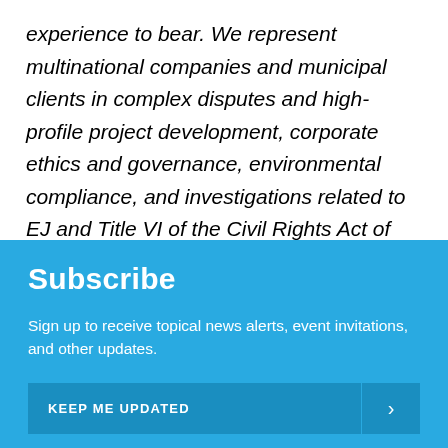experience to bear. We represent multinational companies and municipal clients in complex disputes and high-profile project development, corporate ethics and governance, environmental compliance, and investigations related to EJ and Title VI of the Civil Rights Act of 1964 enforcement.
Subscribe
Sign up to receive topical news alerts, event invitations, and other updates.
KEEP ME UPDATED